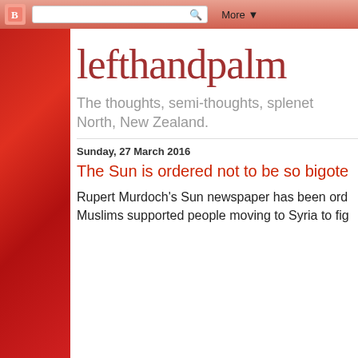[Figure (screenshot): Blogger toolbar with logo, search bar, and More button on a red/salmon gradient background]
lefthandpalm
The thoughts, semi-thoughts, splenet... North, New Zealand.
Sunday, 27 March 2016
The Sun is ordered not to be so bigote...
Rupert Murdoch's Sun newspaper has been ord... Muslims supported people moving to Syria to fig...